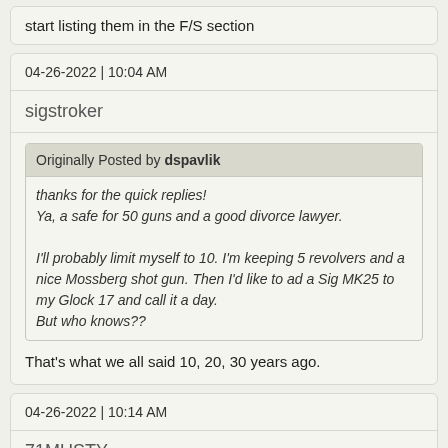start listing them in the F/S section
04-26-2022 | 10:04 AM
sigstroker
Originally Posted by dspavlik
thanks for the quick replies!
Ya, a safe for 50 guns and a good divorce lawyer.

I'll probably limit myself to 10. I'm keeping 5 revolvers and a nice Mossberg shot gun. Then I'd like to ad a Sig MK25 to my Glock 17 and call it a day.
But who knows??
That's what we all said 10, 20, 30 years ago.
04-26-2022 | 10:14 AM
71MUSTY